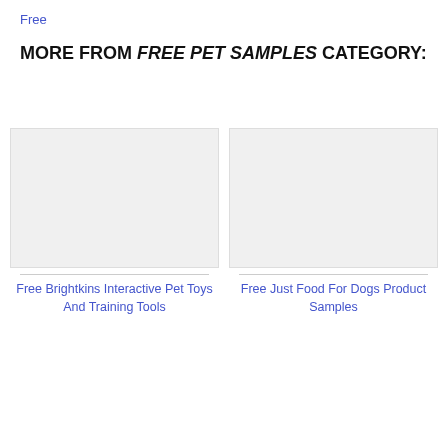Free
MORE FROM FREE PET SAMPLES CATEGORY:
[Figure (other): Placeholder image for Free Brightkins Interactive Pet Toys And Training Tools]
Free Brightkins Interactive Pet Toys And Training Tools
[Figure (other): Placeholder image for Free Just Food For Dogs Product Samples]
Free Just Food For Dogs Product Samples